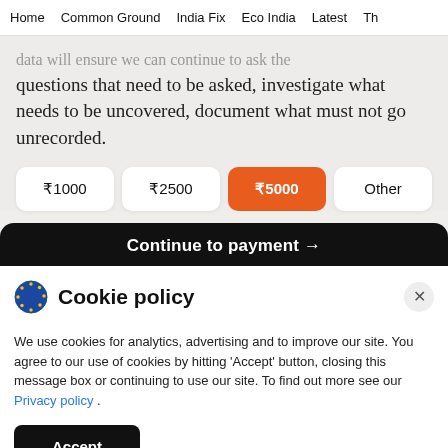Home  Common Ground  India Fix  Eco India  Latest  Th
questions that need to be asked, investigate what needs to be uncovered, document what must not go unrecorded.
₹1000
₹2500
₹5000
Other
Continue to payment →
Cookie policy
We use cookies for analytics, advertising and to improve our site. You agree to our use of cookies by hitting 'Accept' button, closing this message box or continuing to use our site. To find out more see our Privacy policy .
Accept